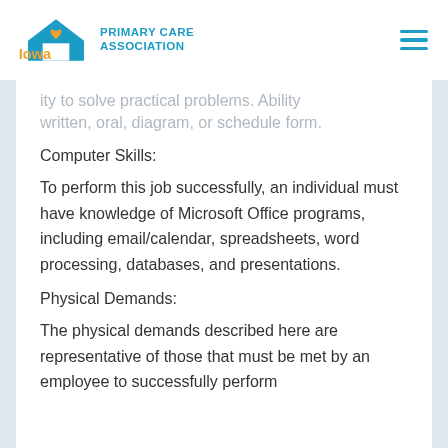Iowa Primary Care Association
ity to solve practical problems. Ability written, oral, diagram, or schedule form.
Computer Skills:
To perform this job successfully, an individual must have knowledge of Microsoft Office programs, including email/calendar, spreadsheets, word processing, databases, and presentations.
Physical Demands:
The physical demands described here are representative of those that must be met by an employee to successfully perform